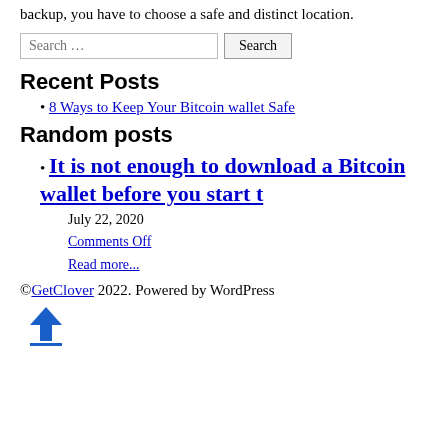backup, you have to choose a safe and distinct location.
Search …
Recent Posts
8 Ways to Keep Your Bitcoin wallet Safe
Random posts
It is not enough to download a Bitcoin wallet before you start t
July 22, 2020
Comments Off
Read more...
©GetClover 2022. Powered by WordPress